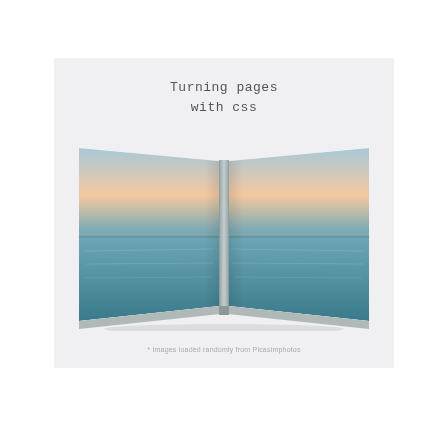[Figure (illustration): An open book/photo book displayed flat showing a panoramic ocean/sea sunset image across both pages. The book is shown in perspective with pages curving slightly. The left page and right page together show a calm sea with a horizon line, sunset sky in pastel pinks and blues. The book spine is visible in the center. The book is sitting on a light gray background panel.]
* Images loaded randomly from Picasimphotos